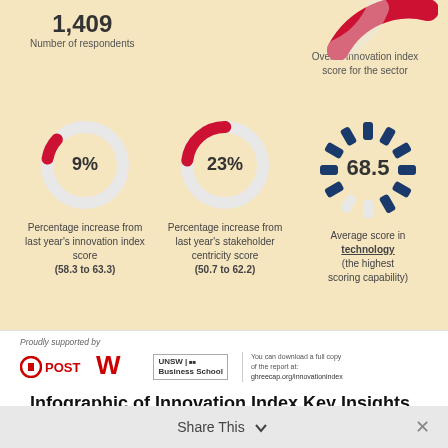[Figure (infographic): Innovation index infographic showing respondents count (1,409), three donut/radial charts: 9% increase from last year's innovation index score (58.3 to 63.3), 23% increase from last year's stakeholder centricity score (50.7 to 62.2), and 68.5 average score in technology. Also shows overall innovation index score donut for the sector at top right.]
Proudly supported by
[Figure (logo): Australia Post logo]
[Figure (logo): Westpac logo]
[Figure (logo): UNSW Business School logo]
You can download a full copy of the report at: ghreecap.org/innovationindex
Infographic of Innovation Index Key Insights